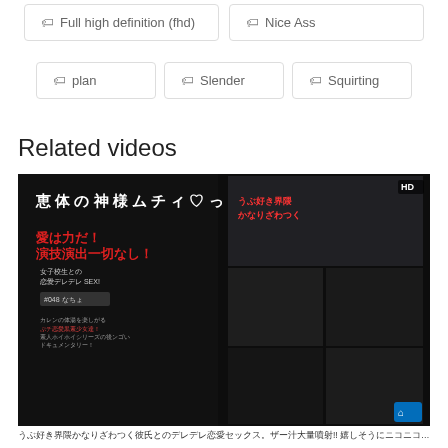Full high definition (fhd)
Nice Ass
plan
Slender
Squirting
Related videos
[Figure (photo): Video thumbnail with Japanese text overlay showing HD badge, dark background with collage of images]
うぶ好き界隈かなりざわつく彼氏とのデレデレ恋愛セックス。ザー汁大量噴射!! 嬉しそうにニコニコで遊びる